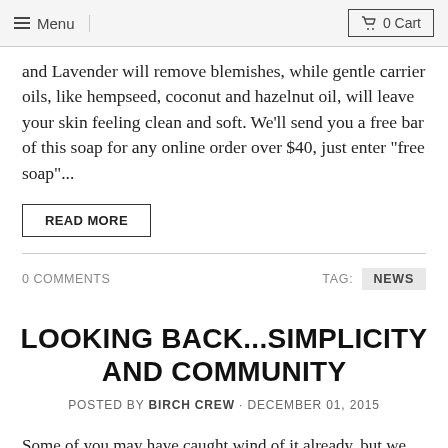Menu | 0 Cart
and Lavender will remove blemishes, while gentle carrier oils, like hempseed, coconut and hazelnut oil, will leave your skin feeling clean and soft. We'll send you a free bar of this soap for any online order over $40, just enter "free soap"...
READ MORE
0 COMMENTS
TAG: NEWS
LOOKING BACK...SIMPLICITY AND COMMUNITY
POSTED BY BIRCH CREW · DECEMBER 01, 2015
Some of you may have caught wind of it already, but we are